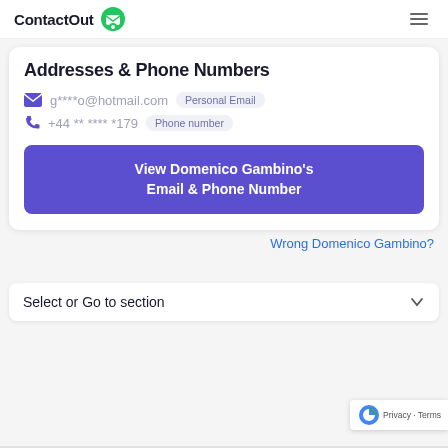ContactOut
Addresses & Phone Numbers
g****o@hotmail.com  Personal Email
+44 ** **** *179  Phone number
View Domenico Gambino's Email & Phone Number
Wrong Domenico Gambino?
Select or Go to section